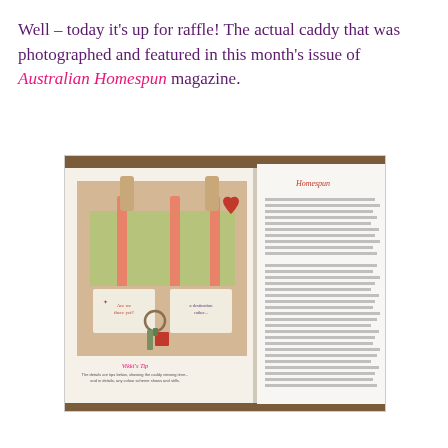Well – today it's up for raffle! The actual caddy that was photographed and featured in this month's issue of Australian Homespun magazine.
[Figure (photo): A photograph of an open magazine spread showing a fabric caddy/organizer with multiple pockets, decorated with floral green fabric and coral/red accents, featuring small tags reading 'Are we there yet?' and 'a destination rather...', with a 'Vikki's Tip' section visible at the bottom of the left page, and text columns on the right page.]